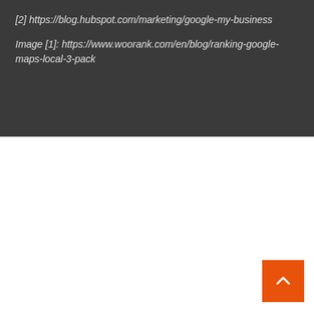[2] https://blog.hubspot.com/marketing/google-my-business
Image [1]: https://www.woorank.com/en/blog/ranking-google-maps-local-3-pack